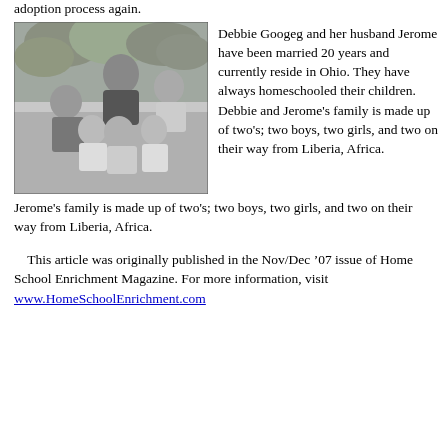adoption process again.
[Figure (photo): Black and white family photo showing a man and five children grouped together outdoors with trees in the background.]
Debbie Googeg and her husband Jerome have been married 20 years and currently reside in Ohio. They have always homeschooled their children. Debbie and Jerome's family is made up of two's; two boys, two girls, and two on their way from Liberia, Africa.
This article was originally published in the Nov/Dec '07 issue of Home School Enrichment Magazine. For more information, visit www.HomeSchoolEnrichment.com